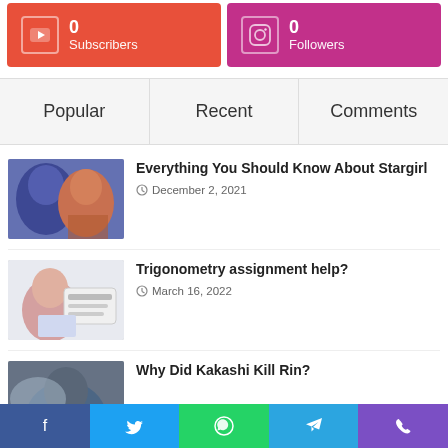[Figure (screenshot): YouTube card showing 0 Subscribers on red background]
[Figure (screenshot): Instagram card showing 0 Followers on pink/magenta background]
Popular
Recent
Comments
[Figure (photo): Thumbnail for Stargirl article - two characters]
Everything You Should Know About Stargirl
December 2, 2021
[Figure (photo): Thumbnail for Trigonometry assignment help article]
Trigonometry assignment help?
March 16, 2022
[Figure (photo): Thumbnail for Kakashi article]
Why Did Kakashi Kill Rin?
[Figure (infographic): Bottom social share bar with Facebook, Twitter, WhatsApp, Telegram, Phone icons]